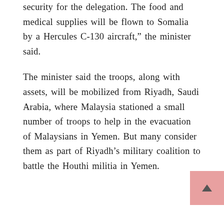security for the delegation. The food and medical supplies will be flown to Somalia by a Hercules C-130 aircraft,” the minister said.
The minister said the troops, along with assets, will be mobilized from Riyadh, Saudi Arabia, where Malaysia stationed a small number of troops to help in the evacuation of Malaysians in Yemen. But many consider them as part of Riyadh’s military coalition to battle the Houthi militia in Yemen.